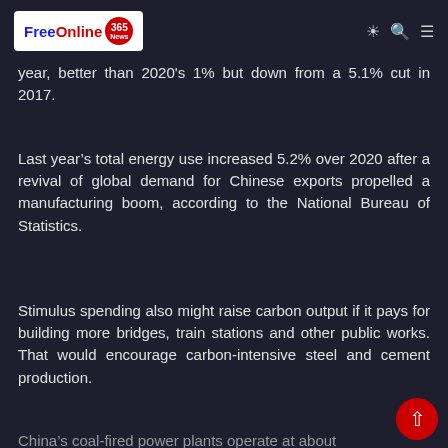FreeOnline 365 News
emissions per unit of economic output. The plan marked a reduction of 3.8% a year, better than 2020's 1% but down from a 5.1% cut in 2017.
Last year's total energy use increased 5.2% over 2020 after a revival of global demand for Chinese exports propelled a manufacturing boom, according to the National Bureau of Statistics.
Stimulus spending also might raise carbon output if it pays for building more bridges, train stations and other public works. That would encourage carbon-intensive steel and cement production.
China's coal-fired power plants operate at about